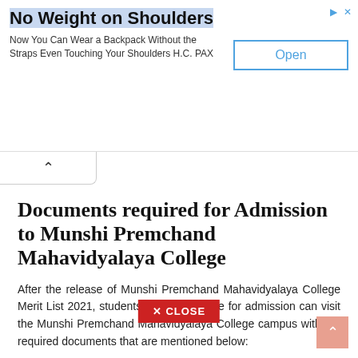[Figure (other): Advertisement banner: 'No Weight on Shoulders' with Open button. Text: Now You Can Wear a Backpack Without the Straps Even Touching Your Shoulders H.C. PAX]
Documents required for Admission to Munshi Premchand Mahavidyalaya College
After the release of Munshi Premchand Mahavidyalaya College Merit List 2021, students who are eligible for admission can visit the Munshi Premchand Mahavidyalaya College campus with the required documents that are mentioned below: